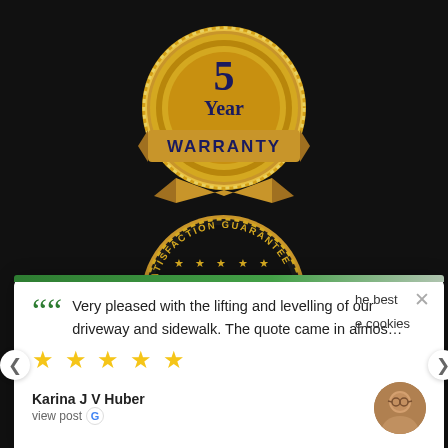[Figure (illustration): Gold circular badge with text '5 Year WARRANTY' in dark navy lettering on a gold seal with ribbon]
[Figure (illustration): Gold circular seal badge with text 'SATISFACTION GUARANTEE' around the edge and '100%' in large gold lettering in the center on dark background, with five stars]
[Figure (screenshot): Customer review card popup with green top bar, quotation mark, review text reading 'Very pleased with the lifting and levelling of our driveway and sidewalk. The quote came in almos...', five gold stars, reviewer name 'Karina J V Huber', 'view post' with Google G icon, and reviewer avatar photo. Navigation arrows on sides. Partial cookie notice text on right: 'he best', 'e cookies'.]